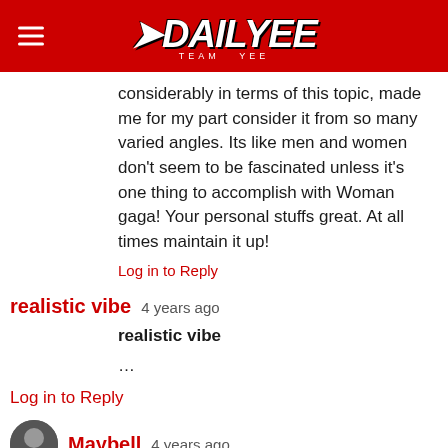DAILYEE TEAM YEE
considerably in terms of this topic, made me for my part consider it from so many varied angles. Its like men and women don't seem to be fascinated unless it's one thing to accomplish with Woman gaga! Your personal stuffs great. At all times maintain it up!
Log in to Reply
realistic vibe  4 years ago
realistic vibe

...
Log in to Reply
Maybell  4 years ago